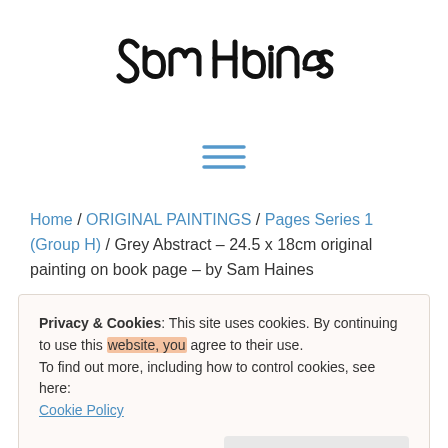[Figure (logo): Sam Haines handwritten signature logo in black ink]
[Figure (other): Hamburger menu icon — three horizontal blue lines]
Home / ORIGINAL PAINTINGS / Pages Series 1 (Group H) / Grey Abstract – 24.5 x 18cm original painting on book page – by Sam Haines
Privacy & Cookies: This site uses cookies. By continuing to use this website, you agree to their use.
To find out more, including how to control cookies, see here:
Cookie Policy
Close and accept